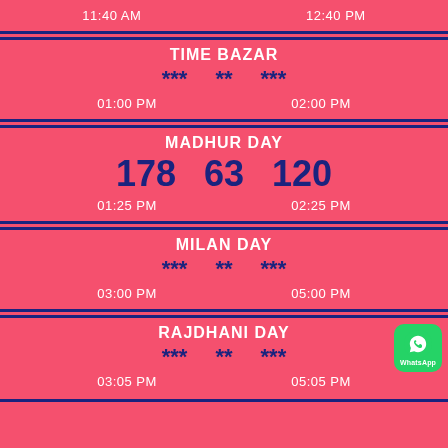11:40 AM   12:40 PM
TIME BAZAR
*** ** ***
01:00 PM   02:00 PM
MADHUR DAY
178  63  120
01:25 PM   02:25 PM
MILAN DAY
*** ** ***
03:00 PM   05:00 PM
RAJDHANI DAY
*** ** ***
03:05 PM   05:05 PM